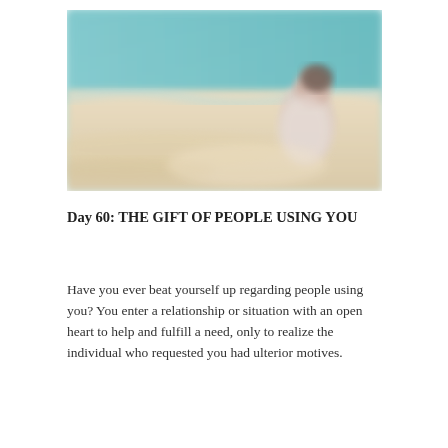[Figure (photo): A blurred photo of a person sitting at a beach with teal ocean water in the background and sandy shoreline. The figure appears to be a woman with dark hair, wearing light-colored clothing.]
Day 60: THE GIFT OF PEOPLE USING YOU
Have you ever beat yourself up regarding people using you? You enter a relationship or situation with an open heart to help and fulfill a need, only to realize the individual who requested you had ulterior motives.